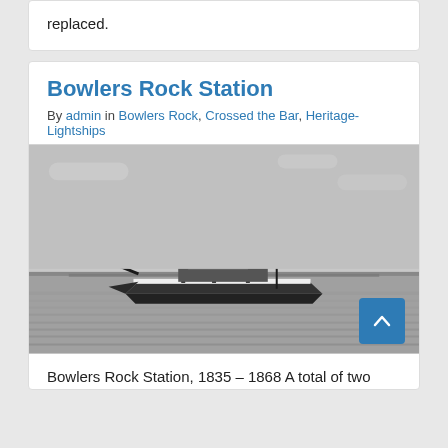replaced.
Bowlers Rock Station
By admin in Bowlers Rock, Crossed the Bar, Heritage-Lightships
[Figure (photo): Black and white historical photograph of a lightship with tall masts and a flag, moored on open water with a long pier or structure visible in the background.]
Bowlers Rock Station, 1835 – 1868 A total of two